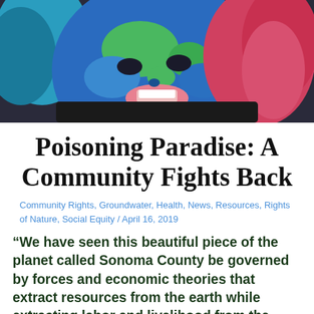[Figure (photo): Close-up photo of a person with blue and green face paint resembling the Earth, with pink/red hair visible, smiling.]
Poisoning Paradise: A Community Fights Back
Community Rights, Groundwater, Health, News, Resources, Rights of Nature, Social Equity / April 16, 2019
“We have seen this beautiful piece of the planet called Sonoma County be governed by forces and economic theories that extract resources from the earth while extracting labor and livelihood from the people who create its beauty. We have seen our home become a